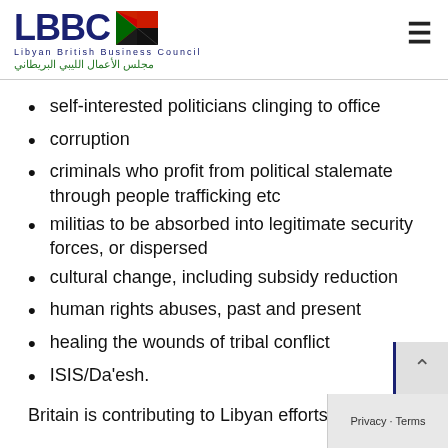LBBC — Libyan British Business Council / مجلس الأعمال الليبي البريطاني
self-interested politicians clinging to office
corruption
criminals who profit from political stalemate through people trafficking etc
militias to be absorbed into legitimate security forces, or dispersed
cultural change, including subsidy reduction
human rights abuses, past and present
healing the wounds of tribal conflict
ISIS/Da'esh.
Britain is contributing to Libyan efforts to ... the challenges a Middle Ea...